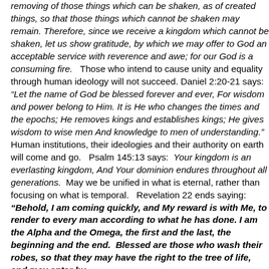removing of those things which can be shaken, as of created things, so that those things which cannot be shaken may remain. Therefore, since we receive a kingdom which cannot be shaken, let us show gratitude, by which we may offer to God an acceptable service with reverence and awe; for our God is a consuming fire.   Those who intend to cause unity and equality through human ideology will not succeed. Daniel 2:20-21 says:  “Let the name of God be blessed forever and ever, For wisdom and power belong to Him. It is He who changes the times and the epochs; He removes kings and establishes kings; He gives wisdom to wise men And knowledge to men of understanding.”  Human institutions, their ideologies and their authority on earth will come and go.   Psalm 145:13 says:  Your kingdom is an everlasting kingdom, And Your dominion endures throughout all generations.  May we be unified in what is eternal, rather than focusing on what is temporal.   Revelation 22 ends saying:   “Behold, I am coming quickly, and My reward is with Me, to render to every man according to what he has done. I am the Alpha and the Omega, the first and the last, the beginning and the end.  Blessed are those who wash their robes, so that they may have the right to the tree of life, and may enter by